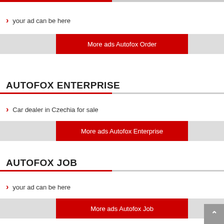your ad can be here
More ads Autofox Order
AUTOFOX ENTERPRISE
Car dealer in Czechia for sale
More ads Autofox Enterprise
AUTOFOX JOB
your ad can be here
More ads Autofox Job